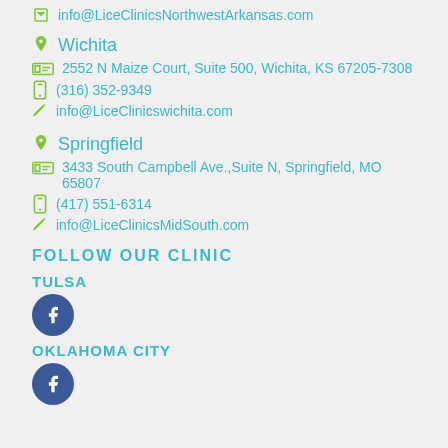info@LiceClinicsNorthwestArkansas.com
Wichita
2552 N Maize Court, Suite 500, Wichita, KS 67205-7308
(316) 352-9349
info@LiceClinicswichita.com
Springfield
3433 South Campbell Ave.,Suite N, Springfield, MO 65807
(417) 551-6314
info@LiceClinicsMidSouth.com
FOLLOW OUR CLINIC
TULSA
[Figure (logo): Facebook circle icon, dark blue]
OKLAHOMA CITY
[Figure (logo): Facebook circle icon, dark blue (partially visible)]